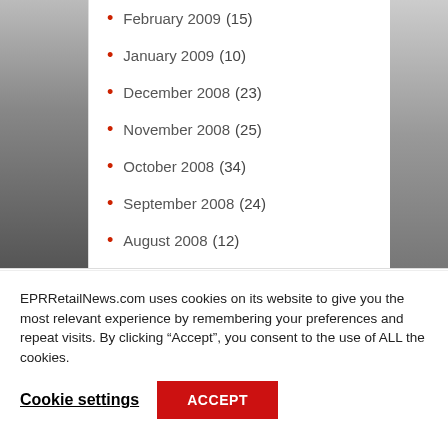February 2009 (15)
January 2009 (10)
December 2008 (23)
November 2008 (25)
October 2008 (34)
September 2008 (24)
August 2008 (12)
EPRRetailNews.com uses cookies on its website to give you the most relevant experience by remembering your preferences and repeat visits. By clicking “Accept”, you consent to the use of ALL the cookies.
Cookie settings | ACCEPT